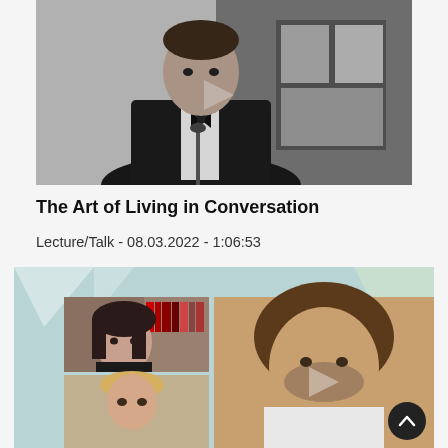[Figure (photo): Black and white photo of a young man in a tuxedo/bow tie standing at a microphone, with framed artwork visible in the background. A translucent play button triangle is overlaid on the image.]
The Art of Living in Conversation
Lecture/Talk - 08.03.2022 - 1:06:53
[Figure (screenshot): Video call screenshot showing three participants: a woman with dark hair in front of a bookshelf (top left), a person with blonde hair (bottom left), and a man with tousled dark hair (right side, larger). A translucent play button triangle is overlaid. Background has light teal/geometric shapes.]